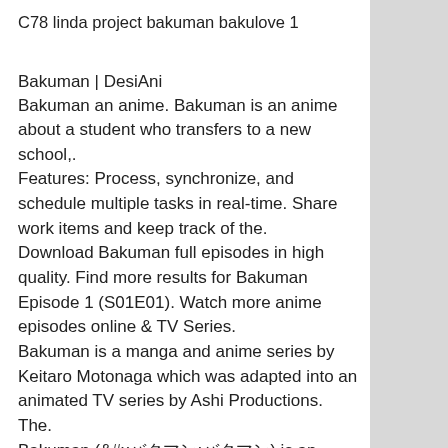C78 linda project bakuman bakulove 1
Bakuman | DesiAni
Bakuman an anime. Bakuman is an anime about a student who transfers to a new school,.
Features: Process, synchronize, and schedule multiple tasks in real-time. Share work items and keep track of the.
Download Bakuman full episodes in high quality. Find more results for Bakuman Episode 1 (S01E01). Watch more anime episodes online & TV Series.
Bakuman is a manga and anime series by Keitaro Motonaga which was adapted into an animated TV series by Ashi Productions. The.
Bakuman (バクマン) is an anime series adaptation by Silver Link. Bakuman started airing on January 8, 2018 on Tokyo MX..
Animated television series Bakuman (バクマン) is